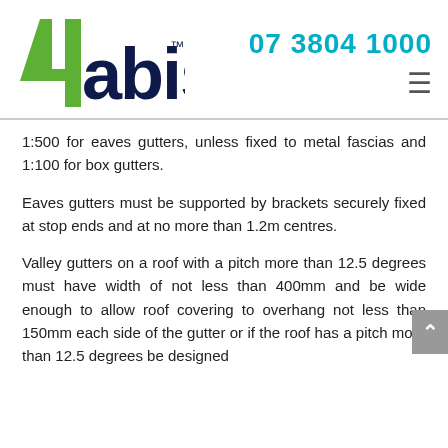[Figure (logo): 4abis logo with green stylized '4' shape and dark navy 'abis' text with trademark symbol, alongside phone number 07 3804 1000 in teal/cyan and a hamburger menu icon]
1:500 for eaves gutters, unless fixed to metal fascias and 1:100 for box gutters.
Eaves gutters must be supported by brackets securely fixed at stop ends and at no more than 1.2m centres.
Valley gutters on a roof with a pitch more than 12.5 degrees must have width of not less than 400mm and be wide enough to allow roof covering to overhang not less than 150mm each side of the gutter or if the roof has a pitch more than 12.5 degrees be designed